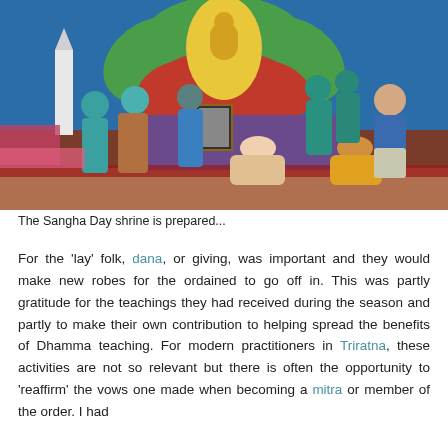[Figure (photo): A colorful indoor shrine area with a large lotus flower decoration in green, yellow and red with a golden Buddha statue at the center against a blue backdrop. Multiple women in teal/turquoise and other colored sarees are visible, along with a man in a blue shirt. Some people are seated on pink/red mats in the foreground. A framed portrait photo sits on the stage.]
The Sangha Day shrine is prepared...
For the 'lay' folk, dana, or giving, was important and they would make new robes for the ordained to go off in. This was partly gratitude for the teachings they had received during the season and partly to make their own contribution to helping spread the benefits of Dhamma teaching. For modern practitioners in Triratna, these activities are not so relevant but there is often the opportunity to 'reaffirm' the vows one made when becoming a mitra or member of the order. I had